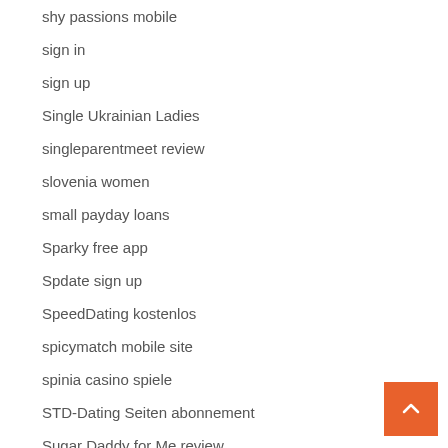shy passions mobile
sign in
sign up
Single Ukrainian Ladies
singleparentmeet review
slovenia women
small payday loans
Sparky free app
Spdate sign up
SpeedDating kostenlos
spicymatch mobile site
spinia casino spiele
STD-Dating Seiten abonnement
Sugar Daddy for Me review
sugardaddyforme web